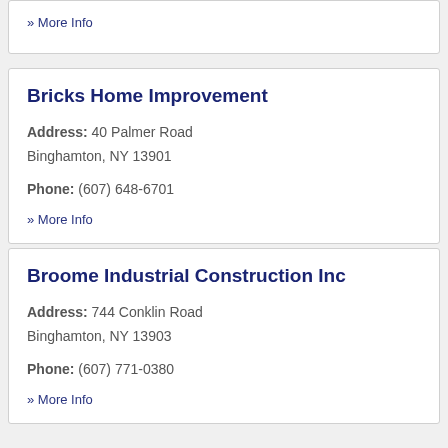» More Info
Bricks Home Improvement
Address: 40 Palmer Road
Binghamton, NY 13901
Phone: (607) 648-6701
» More Info
Broome Industrial Construction Inc
Address: 744 Conklin Road
Binghamton, NY 13903
Phone: (607) 771-0380
» More Info